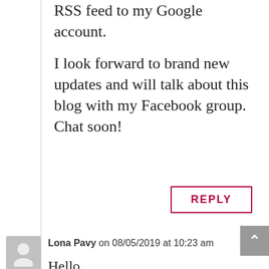RSS feed to my Google account.
I look forward to brand new updates and will talk about this blog with my Facebook group. Chat soon!
REPLY
Lona Pavy on 08/05/2019 at 10:23 am
Hello
I regularly order from your shop,